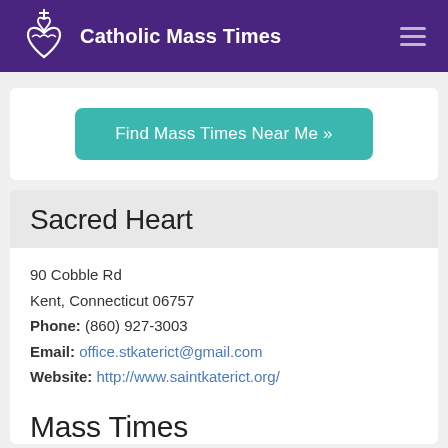Catholic Mass Times
Find Mass Times Near Me »
Sacred Heart
90 Cobble Rd
Kent, Connecticut 06757
Phone: (860) 927-3003
Email: office.stkaterict@gmail.com
Website: http://www.saintkaterict.org/
Mass Times